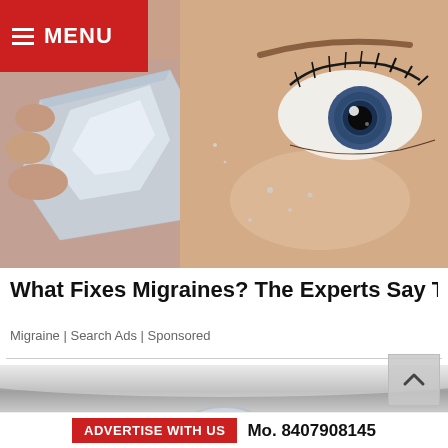MENU
[Figure (photo): Close-up photo of a person holding a piece of ice near their eye; the person has blue eyes and long eyelashes, skin appears wet or dewy]
What Fixes Migraines? The Experts Say This
Migraine | Search Ads | Sponsored
[Figure (photo): Partial photo showing a metallic or reflective surface with a circular glass or lens element visible at the bottom]
ADVERTISE WITH US   Mo. 8407908145